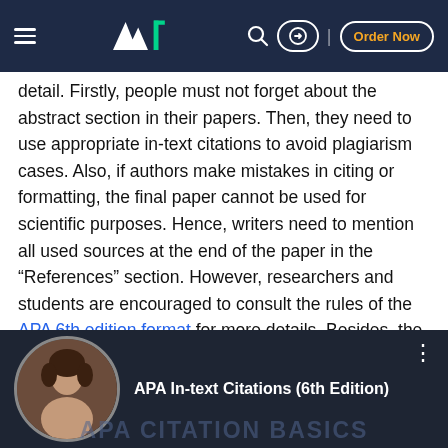W1 — Order Now (navigation header)
detail. Firstly, people must not forget about the abstract section in their papers. Then, they need to use appropriate in-text citations to avoid plagiarism cases. Also, if authors make mistakes in citing or formatting, the final paper cannot be used for scientific purposes. Hence, writers need to mention all used sources at the end of the paper in the “References” section. However, researchers and students are encouraged to consult the rules of the APA 6th edition format for more details. Besides, the illustrations used in the discussion are based on random bibliographic information.
[Figure (screenshot): YouTube video thumbnail showing 'APA In-text Citations (6th Edition)' with a circular profile photo and 'APA CITATION BASICS' text overlay on a dark background]